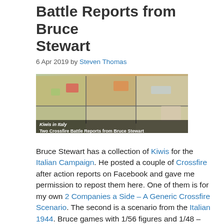Battle Reports from Bruce Stewart
6 Apr 2019 by Steven Thomas
[Figure (photo): A wargame table top with miniature figures and terrain, overlaid with text: 'Kiwis in Italy — Two Crossfire Battle Reports from Bruce Stewart']
Bruce Stewart has a collection of Kiwis for the Italian Campaign. He posted a couple of Crossfire after action reports on Facebook and gave me permission to repost them here. One of them is for my own 2 Companies a Side – A Generic Crossfire Scenario. The second is a scenario from the Italian 1944. Bruce games with 1/56 figures and 1/48 – 1/50 vehicles. Bruce's forces